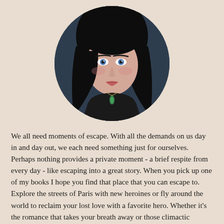[Figure (photo): A circular portrait photo of a woman with dark hair and blue eyes, wearing a black top and a necklace with a green pendant, photographed against a dark background.]
We all need moments of escape. With all the demands on us day in and day out, we each need something just for ourselves. Perhaps nothing provides a private moment - a brief respite from every day - like escaping into a great story. When you pick up one of my books I hope you find that place that you can escape to. Explore the streets of Paris with new heroines or fly around the world to reclaim your lost love with a favorite hero. Whether it's the romance that takes your breath away or those climactic encounters that make your pulse race, I hope you find that solitary moment of enjoyment while lost in one of my stories.